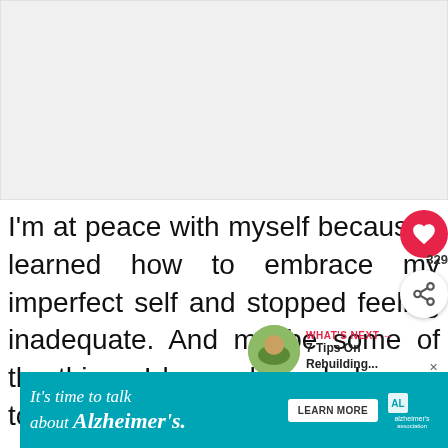[Figure (photo): Large blank/white image area at the top of the page, approximately 200px tall]
I'm at peace with myself because I learned how to embrace my imperfect self and stopped feeling inadequate. And maybe some of the things I learned can help you, too.
[Figure (infographic): Red heart like button, share count 329, and share button on the right side]
[Figure (infographic): WHAT'S NEXT arrow label with thumbnail image and text '7 Tips On Rebuilding...']
[Figure (infographic): Advertisement banner: It's time to talk about Alzheimer's. LEARN MORE. Alzheimer's Association logo.]